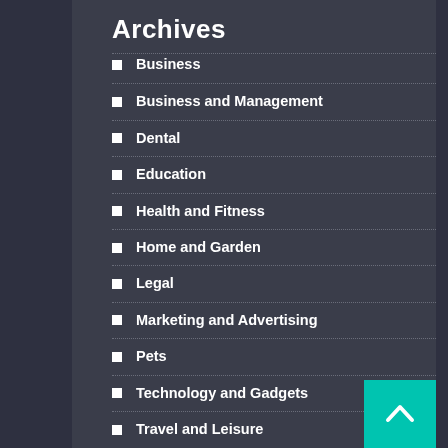Archives
Business
Business and Management
Dental
Education
Health and Fitness
Home and Garden
Legal
Marketing and Advertising
Pets
Technology and Gadgets
Travel and Leisure